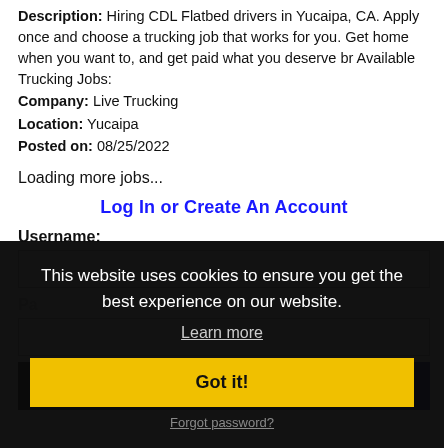Description: Hiring CDL Flatbed drivers in Yucaipa, CA. Apply once and choose a trucking job that works for you. Get home when you want to, and get paid what you deserve br Available Trucking Jobs: Company: Live Trucking Location: Yucaipa Posted on: 08/25/2022
Loading more jobs...
Log In or Create An Account
Username:
Pa...
Log In
This website uses cookies to ensure you get the best experience on our website. Learn more Got it!